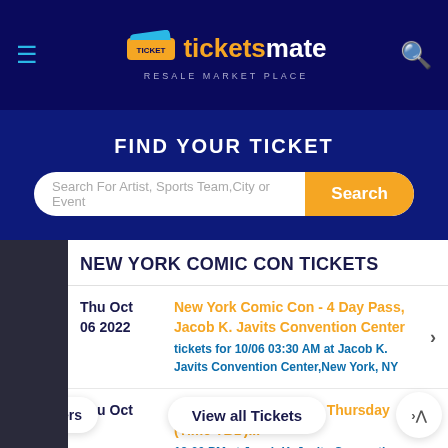[Figure (screenshot): TicketsMate resale marketplace mobile app screenshot showing navigation bar with hamburger menu, logo, and search icon]
FIND YOUR TICKET
Search For Artist, Sports Team,City or Event
NEW YORK COMIC CON TICKETS
Thu Oct 06 2022
New York Comic Con - 4 Day Pass, Jacob K. Javits Convention Center tickets for 10/06 03:30 AM at Jacob K. Javits Convention Center,New York, NY
Thu Oct
New York Comic Con - Thursday (Time TBD)... tickets for ... 12:00 PM at Jacob K. Javits Convention Center,New York, NY
Filters
View all Tickets